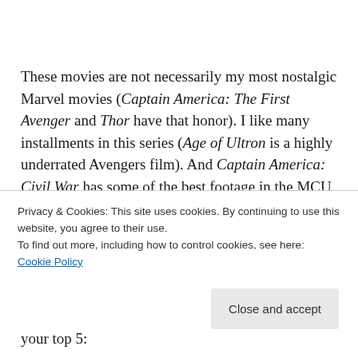These movies are not necessarily my most nostalgic Marvel movies (Captain America: The First Avenger and Thor have that honor). I like many installments in this series (Age of Ultron is a highly underrated Avengers film). And Captain America: Civil War has some of the best footage in the MCU. And the Marvel Disney+ series is a whole other ball of wax. But when I sat down and I thought about it, these
Privacy & Cookies: This site uses cookies. By continuing to use this website, you agree to their use. To find out more, including how to control cookies, see here: Cookie Policy
your top 5: